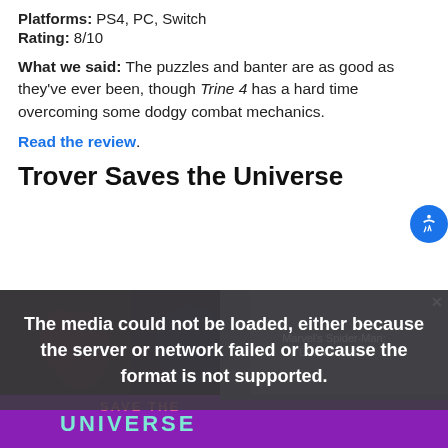Platforms: PS4, PC, Switch
Rating: 8/10
What we said: The puzzles and banter are as good as they've ever been, though Trine 4 has a hard time overcoming some dodgy combat mechanics.
Read the review.
Trover Saves the Universe
[Figure (screenshot): Video player showing media error overlay: 'The media could not be loaded, either because the server or network failed or because the format is not supported.' with a Marvel's Spider-Man: Launch Trailer panel and Trover Saves the Universe purple game art below.]